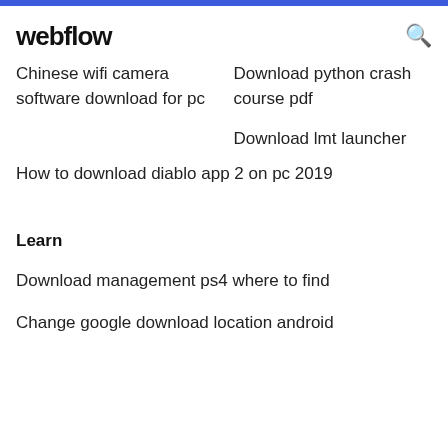webflow
Chinese wifi camera software download for pc
Download python crash course pdf
Download lmt launcher
How to download diablo app 2 on pc 2019
Learn
Download management ps4 where to find
Change google download location android